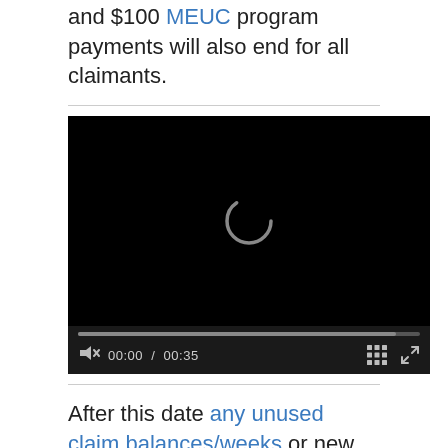and $100 MEUC program payments will also end for all claimants.
[Figure (screenshot): Embedded video player with black background, loading spinner, progress bar, mute icon, time display 00:00 / 00:35, grid icon, and fullscreen icon.]
After this date any unused claim balances/weeks or new claims won't be processed unless states expand funding for these programs using emergency COVID stimulus funds and/or move